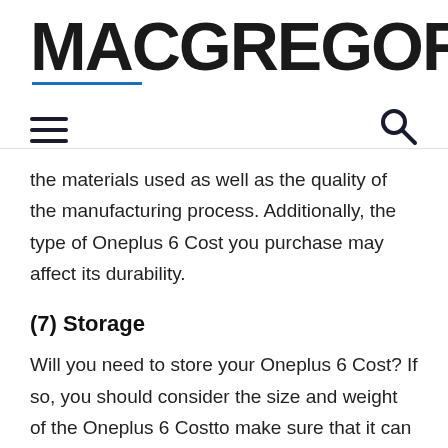MACGREGOR26
the materials used as well as the quality of the manufacturing process. Additionally, the type of Oneplus 6 Cost you purchase may affect its durability.
(7) Storage
Will you need to store your Oneplus 6 Cost? If so, you should consider the size and weight of the Oneplus 6 Costto make sure that it can be stored properly. Also, give some consideration to the type of climate in which your